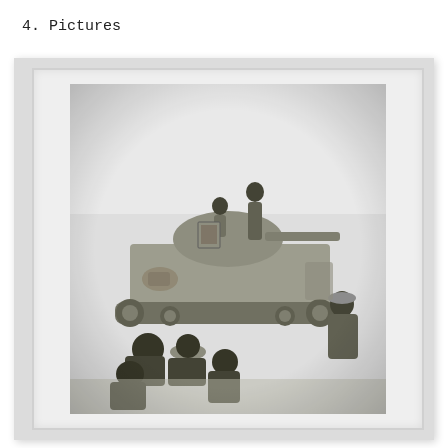4. Pictures
[Figure (photo): Black and white photograph showing a military tank with several people on top and around it. Two soldiers are standing on the tank turret, with others seated or crouching near the base of the vehicle. The scene appears to be from a wartime or conflict setting.]